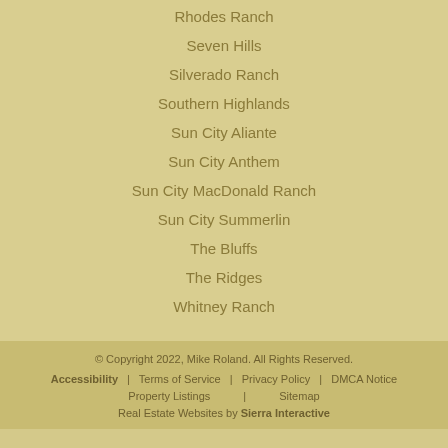Rhodes Ranch
Seven Hills
Silverado Ranch
Southern Highlands
Sun City Aliante
Sun City Anthem
Sun City MacDonald Ranch
Sun City Summerlin
The Bluffs
The Ridges
Whitney Ranch
© Copyright 2022, Mike Roland. All Rights Reserved. | Accessibility | Terms of Service | Privacy Policy | DMCA Notice | Property Listings | Sitemap | Real Estate Websites by Sierra Interactive